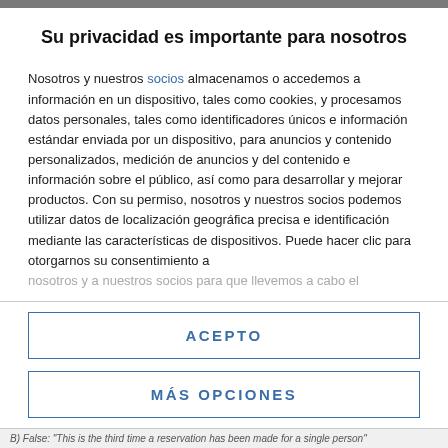Su privacidad es importante para nosotros
Nosotros y nuestros socios almacenamos o accedemos a información en un dispositivo, tales como cookies, y procesamos datos personales, tales como identificadores únicos e información estándar enviada por un dispositivo, para anuncios y contenido personalizados, medición de anuncios y del contenido e información sobre el público, así como para desarrollar y mejorar productos. Con su permiso, nosotros y nuestros socios podemos utilizar datos de localización geográfica precisa e identificación mediante las características de dispositivos. Puede hacer clic para otorgarnos su consentimiento a nosotros y a nuestros socios para que llevemos a cabo el
ACEPTO
MÁS OPCIONES
B) False: "This is the third time a reservation has been made for a single person"